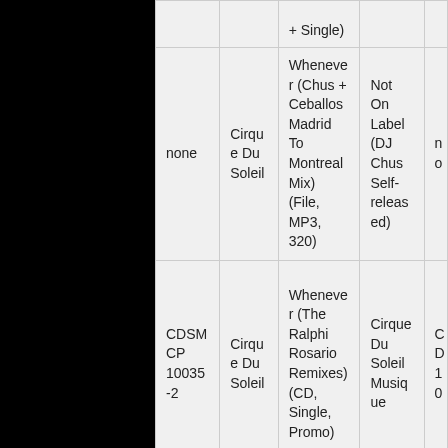| (cat#) | (artist) | (title/format) | (label) | (cat#) |
| --- | --- | --- | --- | --- |
|  |  | + Single) |  |  |
| none | Cirque Du Soleil | Whenever (Chus + Ceballos Madrid To Montreal Mix) (File, MP3, 320) | Not On Label (DJ Chus Self-released) | no |
| CDSMCP 10035-2 | Cirque Du Soleil | Whenever (The Ralphi Rosario Remixes) (CD, Single, Promo) | Cirque Du Soleil Musique | CD 10 |
|  |  | Whenever |  |  |